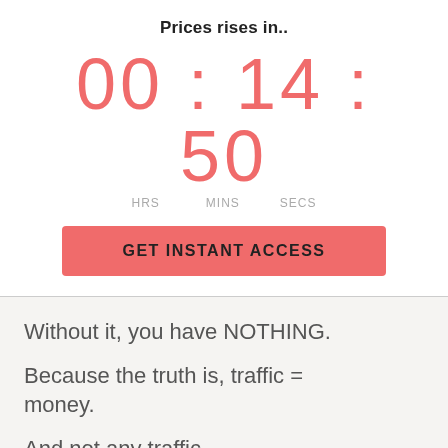Prices rises in..
00 : 14 : 50
HRS   MINS   SECS
GET INSTANT ACCESS
Without it, you have NOTHING.
Because the truth is, traffic = money.
And not any traffic.
What you want is laser targeted, BUYER traffic.